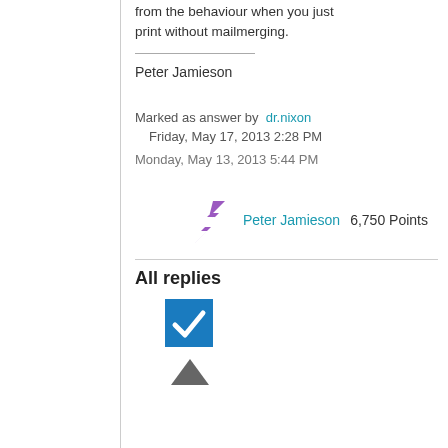from the behaviour when you just print without mailmerging.
Peter Jamieson
Marked as answer by  dr.nixon  Friday, May 17, 2013 2:28 PM
Monday, May 13, 2013 5:44 PM
[Figure (logo): Purple/violet zigzag arrow icon representing user avatar]
Peter Jamieson   6,750 Points
All replies
[Figure (other): Blue checkbox with white checkmark]
[Figure (other): Dark gray upward triangle/arrow icon]